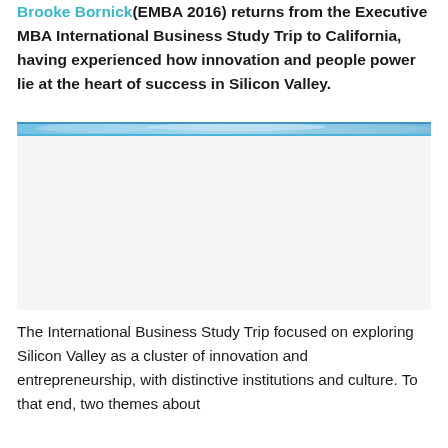Brooke Bornick(EMBA 2016) returns from the Executive MBA International Business Study Trip to California, having experienced how innovation and people power lie at the heart of success in Silicon Valley.
[Figure (photo): Landscape photo showing a sky with blue tones and clouds, likely taken in California/Silicon Valley area. Only the very top strip of the image is visible, showing a blue sky with some cloud detail.]
The International Business Study Trip focused on exploring Silicon Valley as a cluster of innovation and entrepreneurship, with distinctive institutions and culture. To that end, two themes about